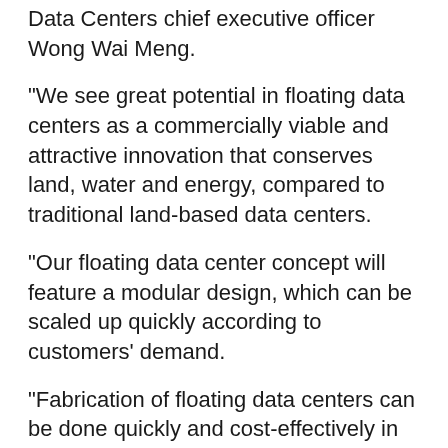Data Centers chief executive officer Wong Wai Meng.
“We see great potential in floating data centers as a commercially viable and attractive innovation that conserves land, water and energy, compared to traditional land-based data centers.
“Our floating data center concept will feature a modular design, which can be scaled up quickly according to customers’ demand.
“Fabrication of floating data centers can be done quickly and cost-effectively in controlled environments such as Keppel Offshore - Marine’s yards and deployed in a ‘plug-and-play’ manner.
“This greatly reduces the construction-related carbon footprint of data centers, as well as the development costs and speed to market,” says Meng.